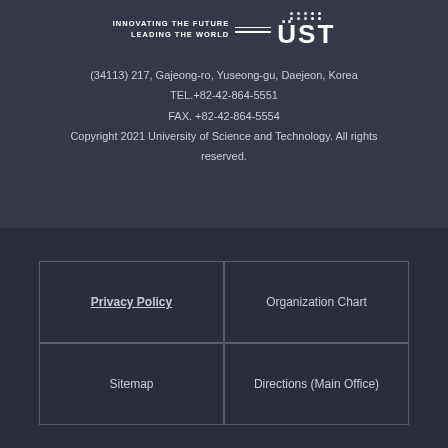[Figure (logo): UST logo with text 'INNOVATING THE FUTURE LEADING THE WORLD' and stylized 'UST' with dot grid]
(34113) 217, Gajeong-ro, Yuseong-gu, Daejeon, Korea
TEL.+82-42-864-5551
FAX. +82-42-864-5554
Copyright 2021 University of Science and Technology. All rights reserved.
Privacy Policy
Organization Chart
Sitemap
Directions (Main Office)